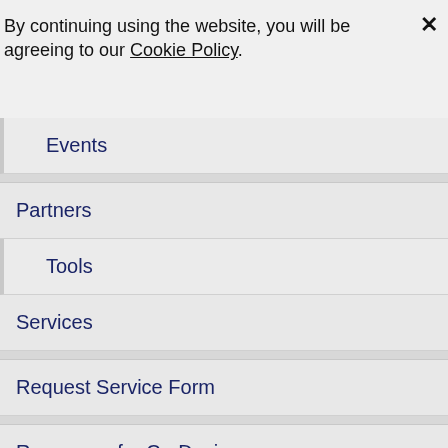By continuing using the website, you will be agreeing to our Cookie Policy.
Events
Partners
Tools
Services
Request Service Form
Resources for Co-Design
Target Customers
Success Stories
Customer Code List